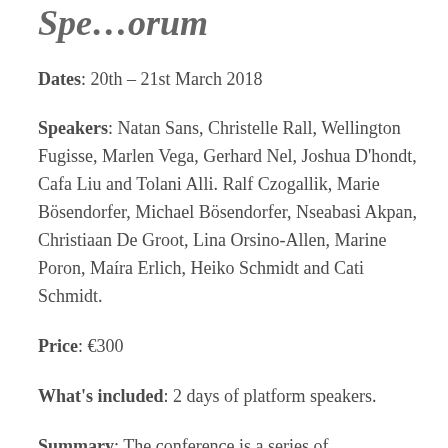Spe…orum (partial title visible at top)
Dates: 20th – 21st March 2018
Speakers: Natan Sans, Christelle Rall, Wellington Fugisse, Marlen Vega, Gerhard Nel, Joshua D'hondt, Cafa Liu and Tolani Alli. Ralf Czogallik, Marie Bösendorfer, Michael Bösendorfer, Nseabasi Akpan, Christiaan De Groot, Lina Orsino-Allen, Marine Poron, Maíra Erlich, Heiko Schmidt and Cati Schmidt.
Price: €300
What's included: 2 days of platform speakers.
Summary: The conference is a series of